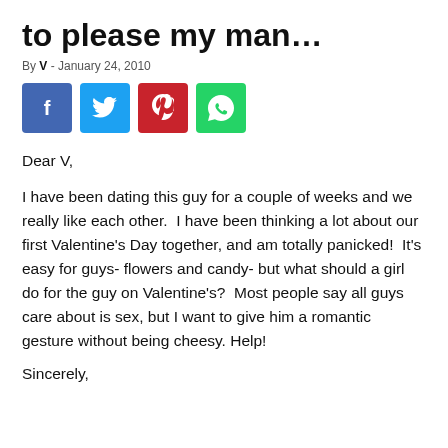to please my man…
By V - January 24, 2010
[Figure (infographic): Row of four social sharing buttons: Facebook (blue, f), Twitter (light blue, bird), Pinterest (red, p), WhatsApp (green, phone)]
Dear V,
I have been dating this guy for a couple of weeks and we really like each other.  I have been thinking a lot about our first Valentine's Day together, and am totally panicked!  It's easy for guys- flowers and candy- but what should a girl do for the guy on Valentine's?  Most people say all guys care about is sex, but I want to give him a romantic gesture without being cheesy. Help!
Sincerely,